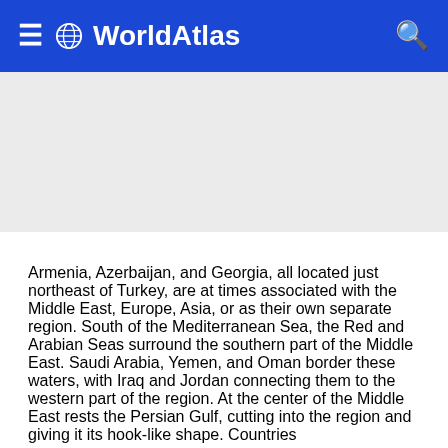≡ 🌐 WorldAtlas  🔍
[Figure (other): Advertisement placeholder area (gray/white background)]
Armenia, Azerbaijan, and Georgia, all located just northeast of Turkey, are at times associated with the Middle East, Europe, Asia, or as their own separate region. South of the Mediterranean Sea, the Red and Arabian Seas surround the southern part of the Middle East. Saudi Arabia, Yemen, and Oman border these waters, with Iraq and Jordan connecting them to the western part of the region. At the center of the Middle East rests the Persian Gulf, cutting into the region and giving it its hook-like shape. Countries